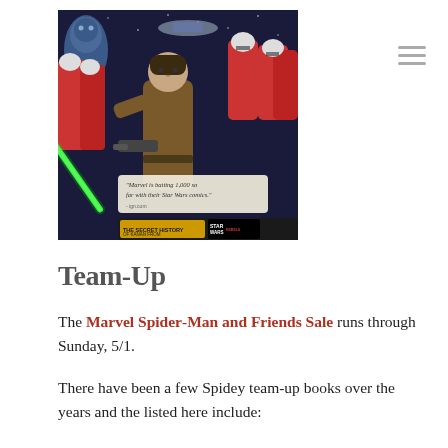[Figure (illustration): Comic book cover art depicting Star Wars Rebels characters including Kanan with a green lightsaber surrounded by clone troopers and other characters. Text on image reads: 'Marvel is batting 1,000 so far with their Star Wars comics.' and 'THE SECRET HISTORY OF KANAN FROM STAR WARS REBELS']
Team-Up
The Marvel Spider-Man and Friends Sale runs through Sunday, 5/1.
There have been a few Spidey team-up books over the years and the listed here include: